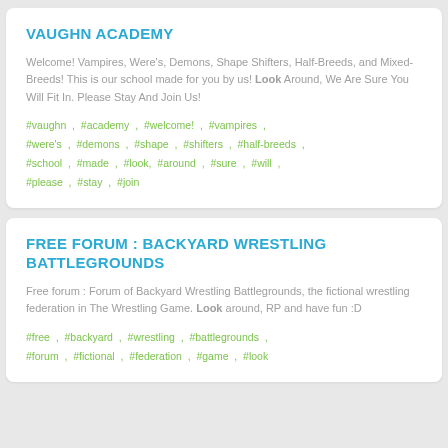VAUGHN ACADEMY
Welcome! Vampires, Were's, Demons, Shape Shifters, Half-Breeds, and Mixed-Breeds! This is our school made for you by us! Look Around, We Are Sure You Will Fit In. Please Stay And Join Us!
#vaughn , #academy , #welcome! , #vampires , #were's , #demons , #shape , #shifters , #half-breeds , #school , #made , #look, #around , #sure , #will , #please , #stay , #join
FREE FORUM : BACKYARD WRESTLING BATTLEGROUNDS
Free forum : Forum of Backyard Wrestling Battlegrounds, the fictional wrestling federation in The Wrestling Game. Look around, RP and have fun :D
#free , #backyard , #wrestling , #battlegrounds , #forum , #fictional , #federation , #game , #look